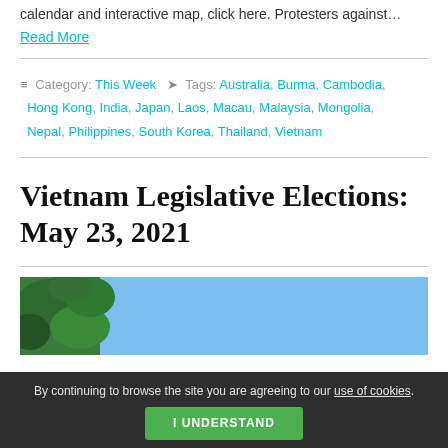calendar and interactive map, click here. Protesters against…
Read More
Category: This Week   Tags: Australia, Burma, Cambodia, Hong Kong, India, Japan, Laos, Macau, Malaysia, Mongolia, Nepal, Philippines, South Korea, Thailand, Vietnam
Vietnam Legislative Elections: May 23, 2021
[Figure (photo): Partial photo of a scene with trees and blue sky, associated with Vietnam Legislative Elections article]
By continuing to browse the site you are agreeing to our use of cookies.
I UNDERSTAND